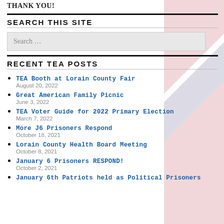THANK YOU!
SEARCH THIS SITE
Search ...
RECENT TEA POSTS
TEA Booth at Lorain County Fair
August 20, 2022
Great American Family Picnic
June 3, 2022
TEA Voter Guide for 2022 Primary Election
March 7, 2022
More J6 Prisoners Respond
October 18, 2021
Lorain County Health Board Meeting
October 8, 2021
January 6 Prisoners RESPOND!
October 2, 2021
January 6th Patriots held as Political Prisoners